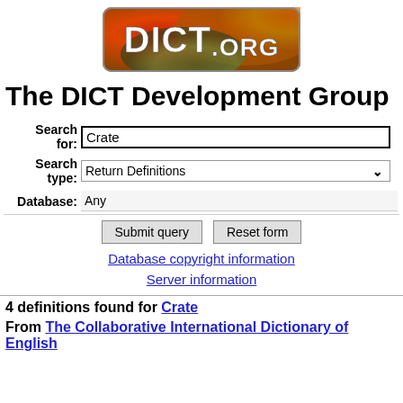[Figure (logo): DICT.org logo — colorful swirled red/green/yellow background with white bold text 'DICT.ORG', rounded rectangle shape]
The DICT Development Group
Search for: Crate | Search type: Return Definitions | Database: Any | Submit query | Reset form
Database copyright information
Server information
4 definitions found for Crate
From The Collaborative International Dictionary of English